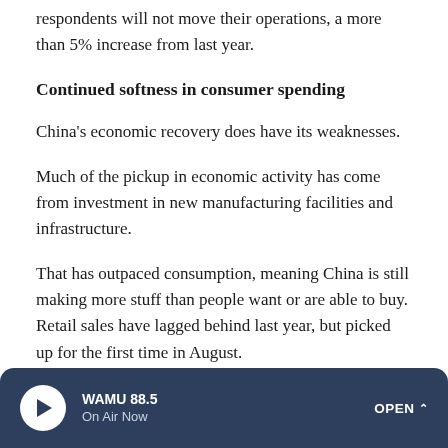respondents will not move their operations, a more than 5% increase from last year.
Continued softness in consumer spending
China's economic recovery does have its weaknesses.
Much of the pickup in economic activity has come from investment in new manufacturing facilities and infrastructure.
That has outpaced consumption, meaning China is still making more stuff than people want or are able to buy. Retail sales have lagged behind last year, but picked up for the first time in August.
WAMU 88.5 On Air Now OPEN